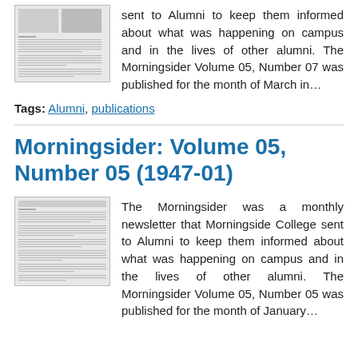[Figure (screenshot): Thumbnail image of a newsletter page with text columns and a photo at the top]
sent to Alumni to keep them informed about what was happening on campus and in the lives of other alumni. The Morningsider Volume 05, Number 07 was published for the month of March in…
Tags: Alumni, publications
Morningsider: Volume 05, Number 05 (1947-01)
[Figure (screenshot): Thumbnail image of a newsletter page with text columns]
The Morningsider was a monthly newsletter that Morningside College sent to Alumni to keep them informed about what was happening on campus and in the lives of other alumni. The Morningsider Volume 05, Number 05 was published for the month of January…